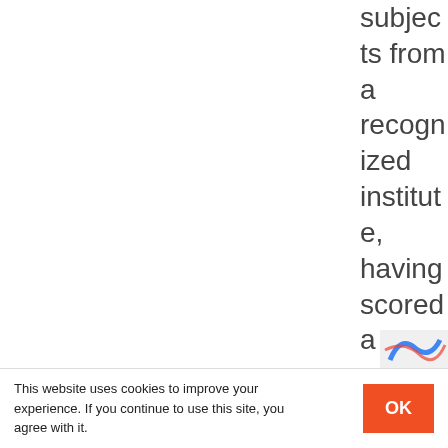subjects from a recognized institute, having scored a minimum of 2.5 CGPA out 4 or first division with no D grade or 3rd division in the
This website uses cookies to improve your experience. If you continue to use this site, you agree with it.